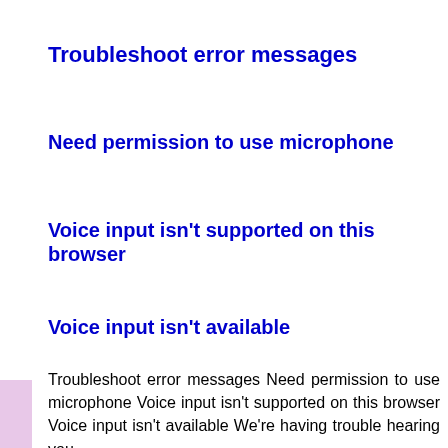Troubleshoot error messages
Need permission to use microphone
Voice input isn't supported on this browser
Voice input isn't available
Troubleshoot error messages Need permission to use microphone Voice input isn't supported on this browser Voice input isn't available We're having trouble hearing you
Source : support.google.com
Online Translator